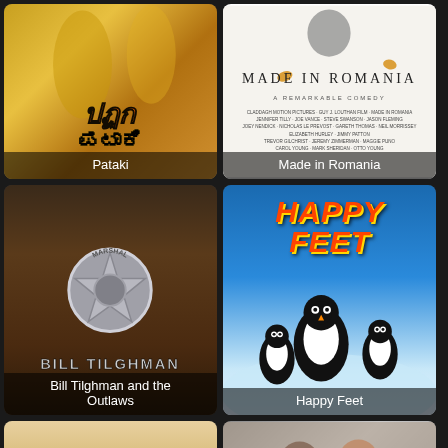[Figure (photo): Movie poster for Pataki - Indian film with colorful characters in yellow/gold tones]
[Figure (photo): Movie poster for Made in Romania - white/grey minimalist comedy poster with bird and autumn leaves]
[Figure (photo): Movie poster for Bill Tilghman and the Outlaws - dark western themed poster with marshal badge]
[Figure (photo): Movie poster for Happy Feet - animated penguin movie with colorful title and penguins on ice]
[Figure (photo): Movie poster for Terri - orange/tan themed poster with stylized title text]
[Figure (photo): Movie poster partially visible in bottom right]